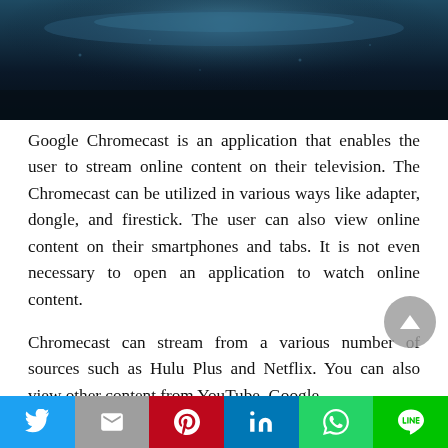[Figure (photo): Dark blue/teal photo of a Chromecast device on a wet surface, partially cropped at top of page]
Google Chromecast is an application that enables the user to stream online content on their television. The Chromecast can be utilized in various ways like adapter, dongle, and firestick. The user can also view online content on their smartphones and tabs. It is not even necessary to open an application to watch online content.
Chromecast can stream from a various number of sources such as Hulu Plus and Netflix. You can also view other content from YouTube, Google
[Figure (infographic): Social sharing bar at bottom with Twitter (blue), Gmail (grey), Pinterest (red), LinkedIn (blue), WhatsApp (green), LINE (green) buttons]